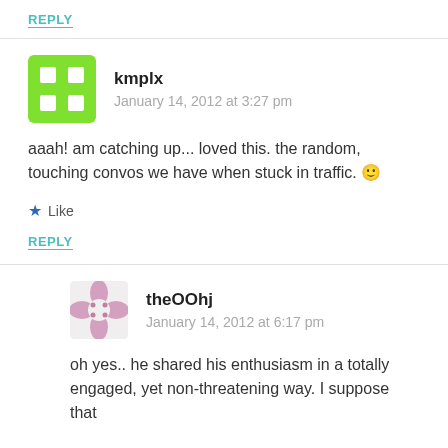REPLY
kmplx
January 14, 2012 at 3:27 pm
aaah! am catching up... loved this. the random, touching convos we have when stuck in traffic. 🙂
Like
REPLY
theOOhj
January 14, 2012 at 6:17 pm
oh yes.. he shared his enthusiasm in a totally engaged, yet non-threatening way. I suppose that